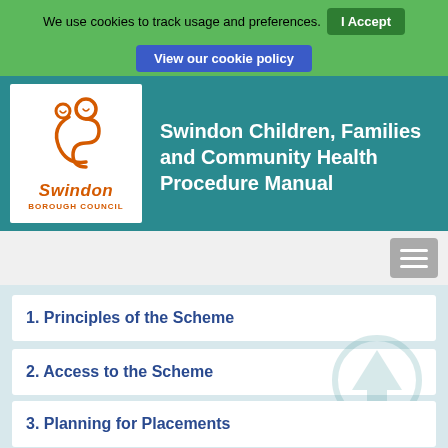We use cookies to track usage and preferences.  I Accept
View our cookie policy
[Figure (logo): Swindon Borough Council logo: orange figure/child silhouette with stylized 'S' shape above text reading 'Swindon Borough Council' in orange italic/bold]
Swindon Children, Families and Community Health Procedure Manual
1. Principles of the Scheme
2. Access to the Scheme
3. Planning for Placements